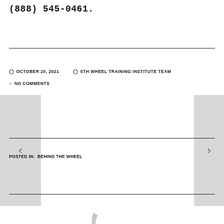(888) 545-0461.
OCTOBER 20, 2021   5TH WHEEL TRAINING INSTITUTE TEAM
NO COMMENTS
POSTED IN:  BEHIND THE WHEEL
[Figure (logo): Partial circular logo/icon at bottom center of page, light gray color]